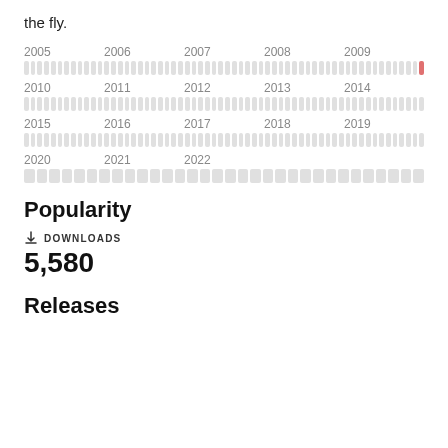the fly.
[Figure (other): Calendar heatmap grid showing years 2005-2022 with monthly blocks, mostly grey with one highlighted red block in 2009]
Popularity
DOWNLOADS
5,580
Releases